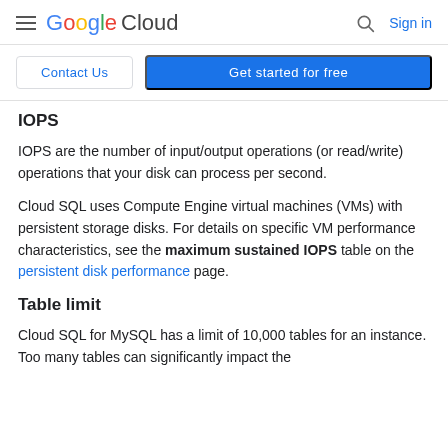Google Cloud | Sign in
Contact Us | Get started for free
IOPS
IOPS are the number of input/output operations (or read/write) operations that your disk can process per second.
Cloud SQL uses Compute Engine virtual machines (VMs) with persistent storage disks. For details on specific VM performance characteristics, see the maximum sustained IOPS table on the persistent disk performance page.
Table limit
Cloud SQL for MySQL has a limit of 10,000 tables for an instance. Too many tables can significantly impact the